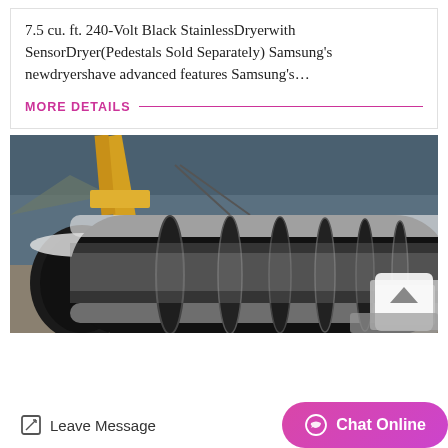7.5 cu. ft. 240-Volt Black StainlessDryerwith SensorDryer(Pedestals Sold Separately) Samsung's newdryershave advanced features Samsung's…
MORE DETAILS
[Figure (photo): Industrial photo showing large black cylindrical drum/dryer equipment being handled by a yellow crane/excavator in an industrial facility with blue metal walls]
Leave Message   Chat Online